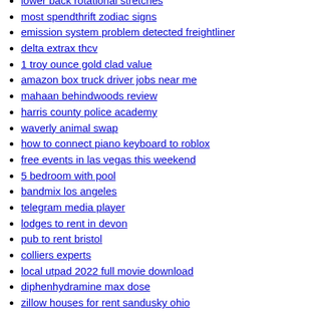lower back rotational stretches
most spendthrift zodiac signs
emission system problem detected freightliner
delta extrax thcv
1 troy ounce gold clad value
amazon box truck driver jobs near me
mahaan behindwoods review
harris county police academy
waverly animal swap
how to connect piano keyboard to roblox
free events in las vegas this weekend
5 bedroom with pool
bandmix los angeles
telegram media player
lodges to rent in devon
pub to rent bristol
colliers experts
local utpad 2022 full movie download
diphenhydramine max dose
zillow houses for rent sandusky ohio
hora bar mitzvah
homes for sale in austin texas under 250 000
two cartoon girl best friends
lewisburg wv newspaper classifieds
woay news
...